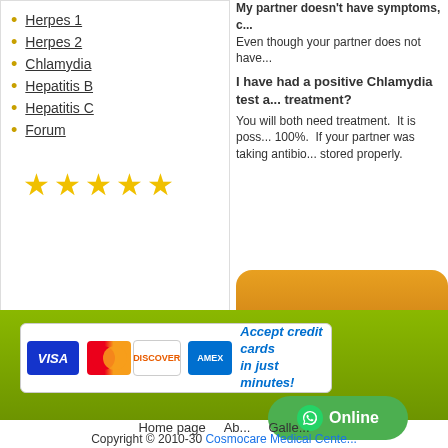Herpes 1
Herpes 2
Chlamydia
Hepatitis B
Hepatitis C
Forum
[Figure (other): Five gold star rating]
My partner doesn't have symptoms, c... Even though your partner does not have...
I have had a positive Chlamydia test a... treatment? You will both need treatment. It is poss... 100%. If your partner was taking antibioc... stored properly.
[Figure (other): Orange rounded button with text (Co...]
[Figure (other): Credit card acceptance banner showing Visa, MasterCard, Discover, AMEX logos with text Accept credit cards in just minutes!]
[Figure (other): Green WhatsApp Online button]
Home page    Ab...    Galle...
Copyright © 2010-30 Cosmocare Medical Cente...